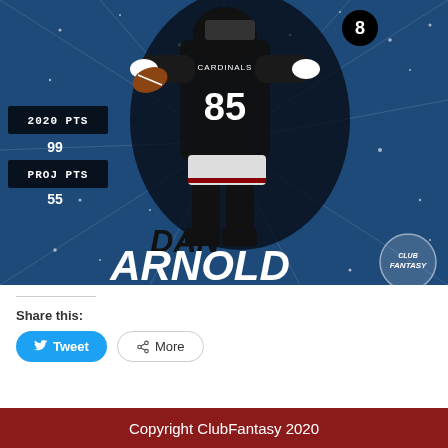[Figure (photo): Fantasy sports player card for Dan Arnold (#85, Arizona Cardinals tight end) wearing dark uniform and holding football. Card shows 2020 PTS: 99, PROJ PTS: 55 on a blue textured background with 'DAN ARNOLD' text overlay and Club Fantasy logo.]
Share this:
Tweet
More
Copyright ClubFantasy 2020